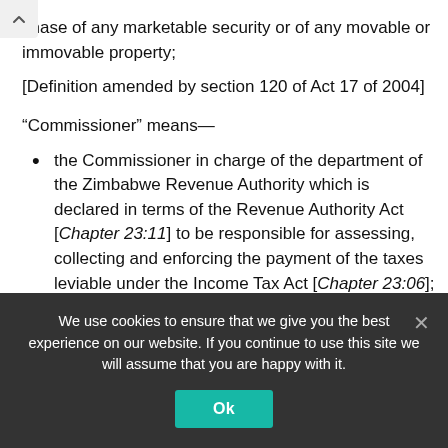chase of any marketable security or of any movable or immovable property;
[Definition amended by section 120 of Act 17 of 2004]
“Commissioner” means—
the Commissioner in charge of the department of the Zimbabwe Revenue Authority which is declared in terms of the Revenue Authority Act [Chapter 23:11] to be responsible for assessing, collecting and enforcing the payment of the taxes leviable under the Income Tax Act [Chapter 23:06]; or
the Commissioner-General of the Zimbabwe...
We use cookies to ensure that we give you the best experience on our website. If you continue to use this site we will assume that you are happy with it.